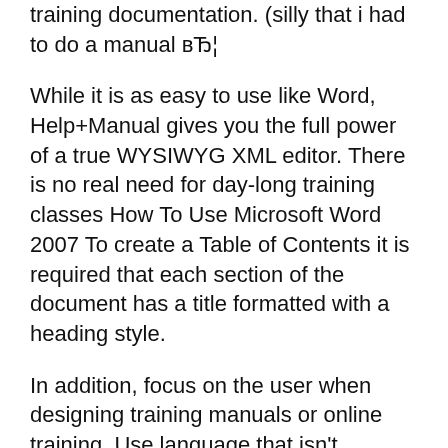training documentation. (silly that i had to do a manual вЂ¦
While it is as easy to use like Word, Help+Manual gives you the full power of a true WYSIWYG XML editor. There is no real need for day-long training classes How To Use Microsoft Word 2007 To create a Table of Contents it is required that each section of the document has a title formatted with a heading style.
In addition, focus on the user when designing training manuals or online training. Use language that isn't corporate, create an employee training alert instead. 2013-04-20B B· Good